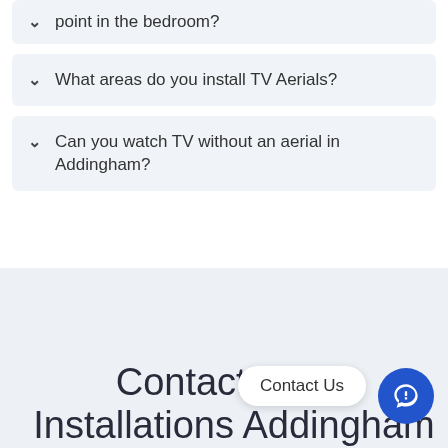point in the bedroom?
What areas do you install TV Aerials?
Can you watch TV without an aerial in Addingham?
Contact Aerial Installations Addingham